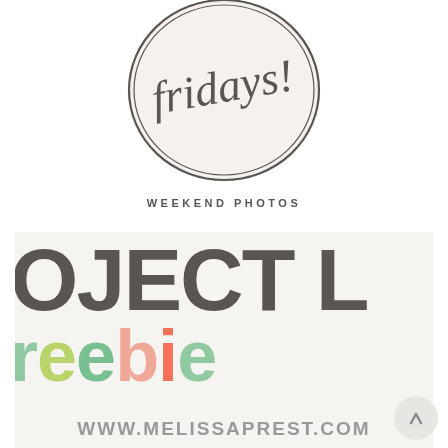[Figure (logo): Circular logo with script/cursive text, double ring border on cream background]
WEEKEND PHOTOS
[Figure (illustration): Cropped image showing large bold text 'OJECT L' in dark gray on light background, with colorful hand-drawn style 'freebie' text below in green, yellow, mint, peach, orange colors, and URL 'WWW.MELISSAPREST.COM' at bottom]